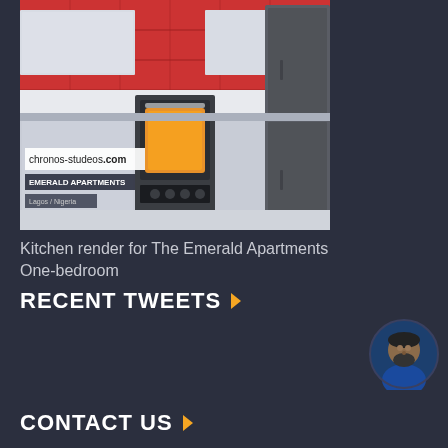[Figure (photo): Kitchen render showing modern kitchen with oven, refrigerator, red tiled backsplash, and grey cabinets. Overlaid watermark text: chronos-studeos.com, EMERALD APARTMENTS, Lagos / Nigeria]
Kitchen render for The Emerald Apartments One-bedroom
RECENT TWEETS
[Figure (photo): Circular profile photo of a man with a beard wearing a blue jacket]
CONTACT US